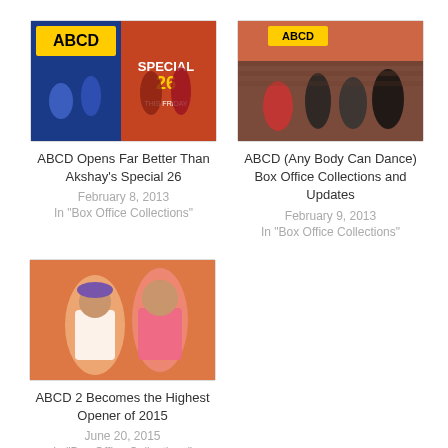[Figure (photo): Movie poster collage for ABCD and Special 26]
ABCD Opens Far Better Than Akshay's Special 26
February 8, 2013
In "Box Office Collections"
[Figure (photo): ABCD movie group photo]
ABCD (Any Body Can Dance) Box Office Collections and Updates
February 9, 2013
In "Box Office Collections"
[Figure (photo): ABCD 2 movie poster with two actors]
ABCD 2 Becomes the Highest Opener of 2015
June 20, 2015
In "Box Office Collections"
Share This Post: